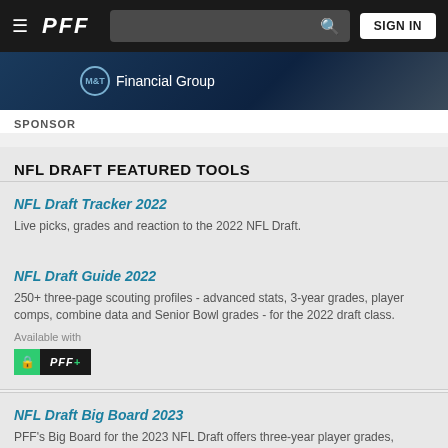PFF — SIGN IN
[Figure (photo): Dark blue banner with M&T Financial Group logo text in white]
SPONSOR
NFL DRAFT FEATURED TOOLS
NFL Draft Tracker 2022
Live picks, grades and reaction to the 2022 NFL Draft.
NFL Draft Guide 2022
250+ three-page scouting profiles - advanced stats, 3-year grades, player comps, combine data and Senior Bowl grades - for the 2022 draft class.
Available with
NFL Draft Big Board 2023
PFF's Big Board for the 2023 NFL Draft offers three-year player grades, combine measurables, position rankings, and in-depth player analysis for...